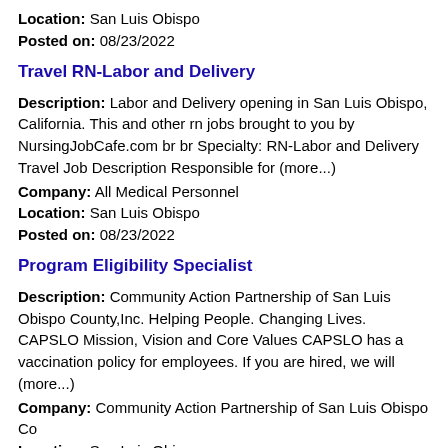Location: San Luis Obispo
Posted on: 08/23/2022
Travel RN-Labor and Delivery
Description: Labor and Delivery opening in San Luis Obispo, California. This and other rn jobs brought to you by NursingJobCafe.com br br Specialty: RN-Labor and Delivery Travel Job Description Responsible for (more...)
Company: All Medical Personnel
Location: San Luis Obispo
Posted on: 08/23/2022
Program Eligibility Specialist
Description: Community Action Partnership of San Luis Obispo County,Inc. Helping People. Changing Lives. CAPSLO Mission, Vision and Core Values CAPSLO has a vaccination policy for employees. If you are hired, we will (more...)
Company: Community Action Partnership of San Luis Obispo Co
Location: San Luis Obispo
Posted on: 08/23/2022
Salary in Santa Barbara, California Area | More details for Santa Barbara, California Jobs |Salary